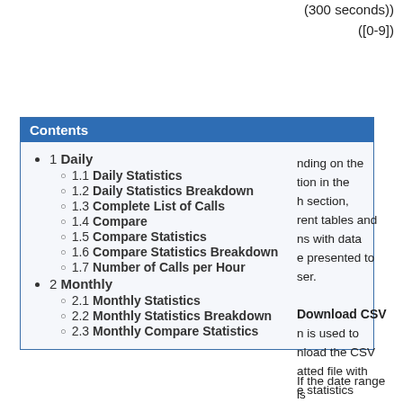(300 seconds))
([0-9])
1 Daily
1.1 Daily Statistics
1.2 Daily Statistics Breakdown
1.3 Complete List of Calls
1.4 Compare
1.5 Compare Statistics
1.6 Compare Statistics Breakdown
1.7 Number of Calls per Hour
2 Monthly
2.1 Monthly Statistics
2.2 Monthly Statistics Breakdown
2.3 Monthly Compare Statistics
nding on the tion in the h section, rent tables and ns with data e presented to ser.
Download CSV n is used to nload the CSV atted file with e statistics n on this page.
pare Statistics
If the date range is